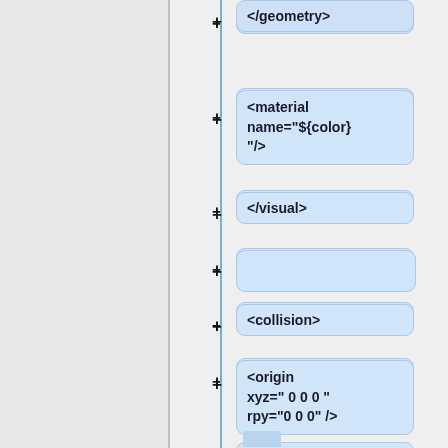[Figure (flowchart): A vertical tree/flowchart showing XML/URDF code structure nodes. Each node is a rounded rectangle with light blue background containing XML tag text. Each node has a '+' expand button on its left side. A vertical blue line connects the nodes. The visible nodes from top to bottom are: '</geometry>', '<material name="${color}"/>', '</visual>', '(empty node)', '<collision>', '<origin xyz=" 0 0 0 " rpy="0 0 0" />', '<geometry>', '<mesh filename="package://brazo_fer_modelo/meshes/F2.stl"']